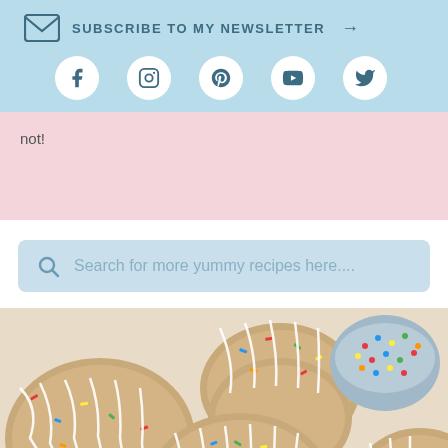SUBSCRIBE TO MY NEWSLETTER →
[Figure (other): Social media icons row: Facebook, Instagram, Pinterest, YouTube, Twitter]
not!
Search for more yummy recipes here...
[Figure (photo): Colorful sprinkle cookies drizzled with white chocolate, some sandwiched together, with a tin of rainbow sprinkles in the background]